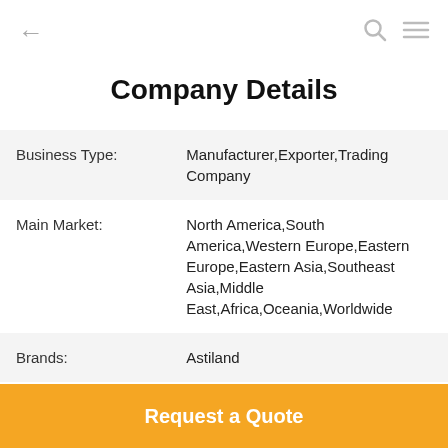← [search icon] [menu icon]
Company Details
| Business Type: | Manufacturer,Exporter,Trading Company |
| Main Market: | North America,South America,Western Europe,Eastern Europe,Eastern Asia,Southeast Asia,Middle East,Africa,Oceania,Worldwide |
| Brands: | Astiland |
| No. of Employees: | 100~150 |
Request a Quote